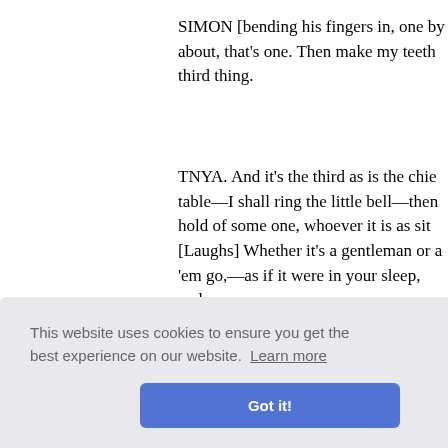SIMON [bending his fingers in, one by one]: So that is the first about, that's one. Then make my teeth—that's two. And the third thing.
TNYA. And it's the third as is the chief. I shall come to the table—I shall ring the little bell—then you must catch hold of some one, whoever it is as sits next to you [Laughs] Whether it's a gentleman or a lady—let 'em go,—as if it were in your sleep, and [speaks sotto-voce] And when I begin to play—as if waking up, you know.... Will you remem—
SIMON. Yes, I'll remember, but it is too—
ugh. Still are you d
ears.
TNYA. Well then Sim darling, only mi